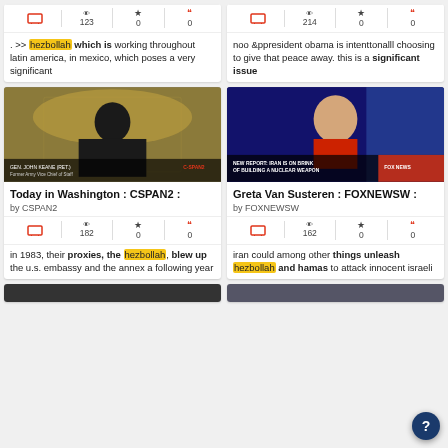[Figure (screenshot): Partial card showing stats row (TV icon, 123 views, 0 stars, 0 quotes) and text about hezbollah working throughout latin america]
. >> hezbollah which is working throughout latin america, in mexico, which poses a very significant
[Figure (screenshot): Partial card showing stats row (TV icon, 214 views, 0 stars, 0 quotes) and text about president obama and significant issue]
noo &ppresident obama is intenttonalll choosing to give that peace away. this is a significant issue
[Figure (screenshot): Full card with CSPAN2 video thumbnail showing General John Keane (Ret.), titled Today in Washington : CSPAN2 :, by CSPAN2, stats: 182 views, 0 stars, 0 quotes. Text: in 1983, their proxies, the hezbollah, blew up the u.s. embassy and the annex a following year]
[Figure (screenshot): Full card with FOXNEWSW video thumbnail showing Greta Van Susteren with John Bolton, lower bar reads NEW REPORT: IRAN IS ON BRINK OF BUILDING A NUCLEAR WEAPON, titled Greta Van Susteren : FOXNEWSW :, by FOXNEWSW, stats: 162 views, 0 stars, 0 quotes. Text: iran could among other things unleash hezbollah and hamas to attack innocent israeli]
[Figure (screenshot): Partially visible card at bottom left, image cut off]
[Figure (screenshot): Partially visible card at bottom right, image cut off]